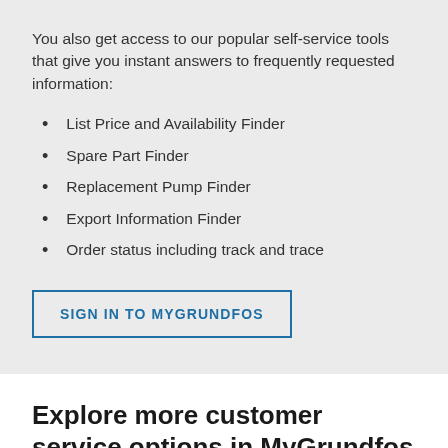You also get access to our popular self-service tools that give you instant answers to frequently requested information:
List Price and Availability Finder
Spare Part Finder
Replacement Pump Finder
Export Information Finder
Order status including track and trace
SIGN IN TO MYGRUNDFOS
Explore more customer service options in MyGrundfos
MyGrundfos is a 24/7 customer service platform that